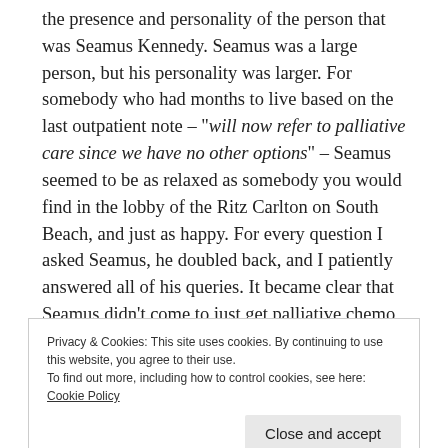the presence and personality of the person that was Seamus Kennedy. Seamus was a large person, but his personality was larger. For somebody who had months to live based on the last outpatient note – "will now refer to palliative care since we have no other options" – Seamus seemed to be as relaxed as somebody you would find in the lobby of the Ritz Carlton on South Beach, and just as happy. For every question I asked Seamus, he doubled back, and I patiently answered all of his queries. It became clear that Seamus didn't come to just get palliative chemo, he was hell bent on living every moment of his life, just as he had done until the moment
Privacy & Cookies: This site uses cookies. By continuing to use this website, you agree to their use.
To find out more, including how to control cookies, see here: Cookie Policy
whether he bore any relation to the Kennedy family.